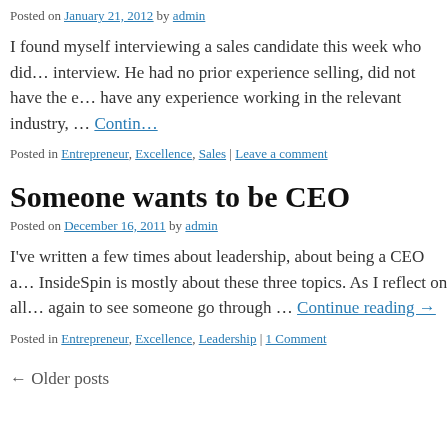Posted on January 21, 2012 by admin
I found myself interviewing a sales candidate this week who did… interview. He had no prior experience selling, did not have the e… have any experience working in the relevant industry, … Continue reading →
Posted in Entrepreneur, Excellence, Sales | Leave a comment
Someone wants to be CEO
Posted on December 16, 2011 by admin
I've written a few times about leadership, about being a CEO a… InsideSpin is mostly about these three topics. As I reflect on all… again to see someone go through … Continue reading →
Posted in Entrepreneur, Excellence, Leadership | 1 Comment
← Older posts